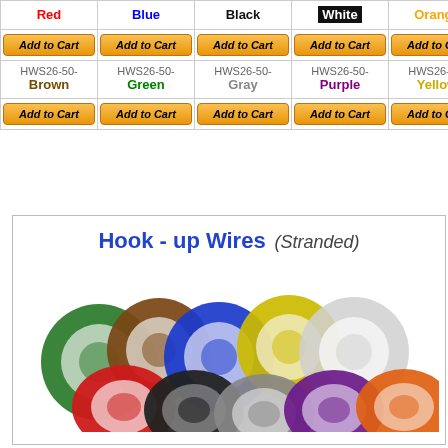| Red | Blue | Black | White | Orange |
| --- | --- | --- | --- | --- |
| Add to Cart | Add to Cart | Add to Cart | Add to Cart | Add to Cart |
| HWS26-50-Brown | HWS26-50-Green | HWS26-50-Gray | HWS26-50-Purple | HWS26-50-Yellow |
| Add to Cart | Add to Cart | Add to Cart | Add to Cart | Add to Cart |
[Figure (photo): Hook-up Wires (Stranded) product image showing multiple coils of wire in various colors including green, brown, blue, yellow, white, red, black, gray, purple, orange]
Hook - up Wires (Stranded)